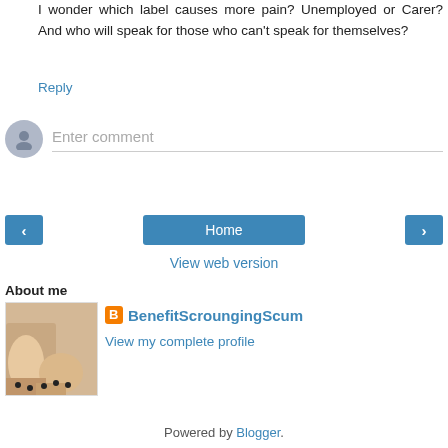I wonder which label causes more pain? Unemployed or Carer? And who will speak for those who can't speak for themselves?
Reply
[Figure (other): Enter comment input field with user avatar]
[Figure (other): Navigation buttons: previous arrow, Home, next arrow]
View web version
About me
[Figure (photo): Profile photo showing feet/legs]
BenefitScroungingScum
View my complete profile
Powered by Blogger.